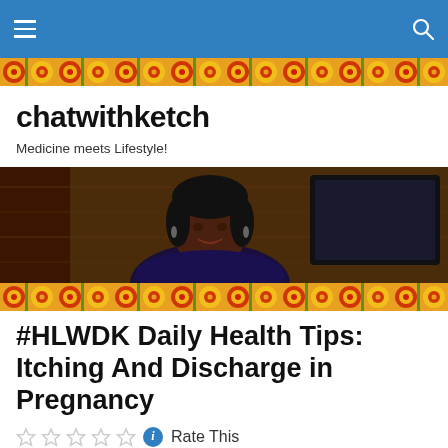chatwithketch navigation bar
[Figure (illustration): African wax print decorative banner pattern with orange, red, yellow and green floral/butterfly motifs]
chatwithketch
Medicine meets Lifestyle!
[Figure (photo): A woman with dark skin smiling, wearing a dark blue outfit with dangling earrings, seated in front of a wooden-paneled background with a TV monitor visible]
[Figure (illustration): African wax print decorative banner pattern with orange, red, yellow and green floral/butterfly motifs]
#HLWDK Daily Health Tips: Itching And Discharge in Pregnancy
Rate This